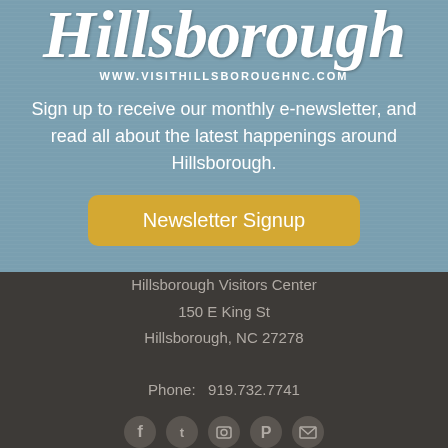Hillsborough
WWW.VISITHILLSBOROUGHNC.COM
Sign up to receive our monthly e-newsletter, and read all about the latest happenings around Hillsborough.
Newsletter Signup
Hillsborough Visitors Center
150 E King St
Hillsborough, NC 27278

Phone: 919.732.7741
[Figure (other): Social media icons row: Facebook, Twitter, Instagram/camera, Pinterest, Email]